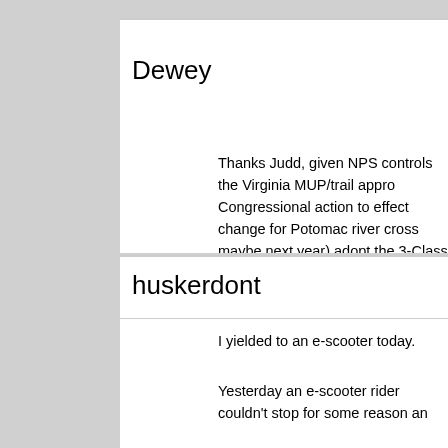Dewey
Thanks Judd, given NPS controls the Virginia MUP/trail appro Congressional action to effect change for Potomac river cross maybe next year) adopt the 3-Class model ebike legislation, t ebikes riding on trails and MUP's unless localities choose to p will oblige local jurisdictions to review their reasoning and cha explicitly call out Classes of ebikes and electric scooters to wh apply. I believe it's worth making the regulatory changes to DC now to apply a consistent region wide legal framework for Cla scooters enabling riders to commute safely and legally to and transition to on-street bicycle infrastructure when we reach the points out, encouraging more commuters to choose Capital B electric scooter should hopefully mean more people on bikes safer cycling infrastructure. It might also encourage more elec consider taking out liability and/or personal injury insurance. T denying legal protection from driver's lawyers when we ride in
huskerdont
I yielded to an e-scooter today.
Yesterday an e-scooter rider couldn't stop for some reason an